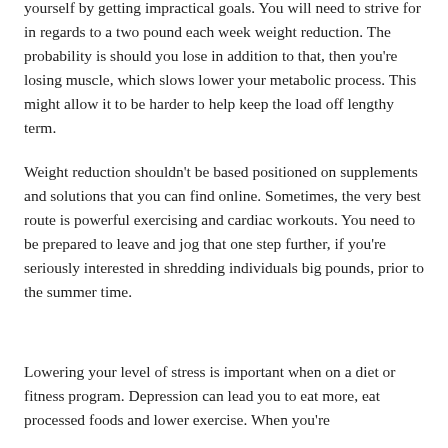yourself by getting impractical goals. You will need to strive for in regards to a two pound each week weight reduction. The probability is should you lose in addition to that, then you're losing muscle, which slows lower your metabolic process. This might allow it to be harder to help keep the load off lengthy term.
Weight reduction shouldn't be based positioned on supplements and solutions that you can find online. Sometimes, the very best route is powerful exercising and cardiac workouts. You need to be prepared to leave and jog that one step further, if you're seriously interested in shredding individuals big pounds, prior to the summer time.
Lowering your level of stress is important when on a diet or fitness program. Depression can lead you to eat more, eat processed foods and lower exercise. When you're